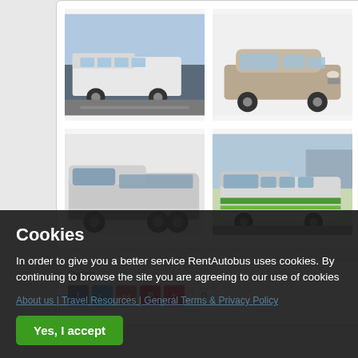[Figure (photo): Grid of four vehicle photos: top-left white minibus/van at parking area, top-right silver/tan MPV car, bottom-left large silver coach bus, bottom-right silver minibus with green stripes]
Delen
0
Cookies
In order to give you a better service RentAutobus uses cookies. By continuing to browse the site you are agreeing to our use of cookies
About us | Travel Resources | General Terms & Privacy Policy
Yes, I accept